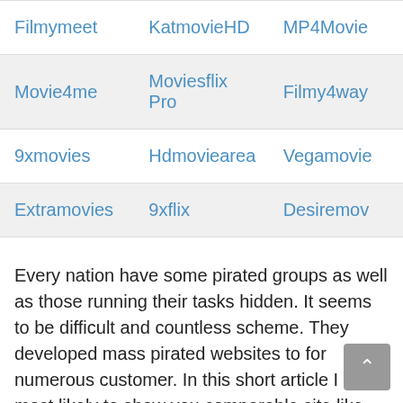| Filmymeet | KatmovieHD | MP4Movie |
| Movie4me | Moviesflix Pro | Filmy4way |
| 9xmovies | Hdmoviearea | Vegamovie |
| Extramovies | 9xflix | Desiremov |
Every nation have some pirated groups as well as those running their tasks hidden. It seems to be difficult and countless scheme. They developed mass pirated websites to for numerous customer. In this short article I am most likely to show you comparable site like Movie4me which really running their piracy in 2022.